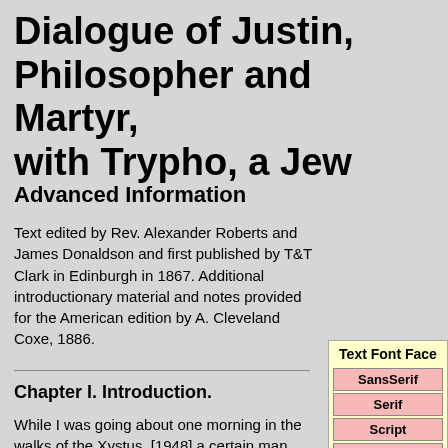Dialogue of Justin, Philosopher and Martyr, with Trypho, a Jew
Advanced Information
Text edited by Rev. Alexander Roberts and James Donaldson and first published by T&T Clark in Edinburgh in 1867. Additional introductionary material and notes provided for the American edition by A. Cleveland Coxe, 1886.
Chapter I. Introduction.
While I was going about one morning in the walks of the Xystus, [1948] a certain man, with others in his company, having met me, and said, "Hail, O philosopher!" And
Text Font Face
SansSerif
Serif
Script
Verdana
ComicSans
Text Size
14px
Larger
Smaller
Background Color